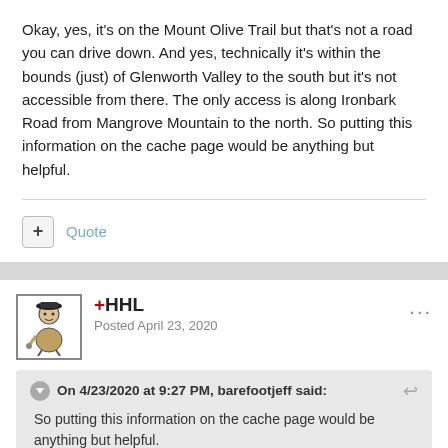Okay, yes, it's on the Mount Olive Trail but that's not a road you can drive down. And yes, technically it's within the bounds (just) of Glenworth Valley to the south but it's not accessible from there. The only access is along Ironbark Road from Mangrove Mountain to the north. So putting this information on the cache page would be anything but helpful.
+ Quote
+HHL
Posted April 23, 2020
On 4/23/2020 at 9:27 PM, barefootjeff said:
So putting this information on the cache page would be anything but helpful.
I didn't say so. 😎